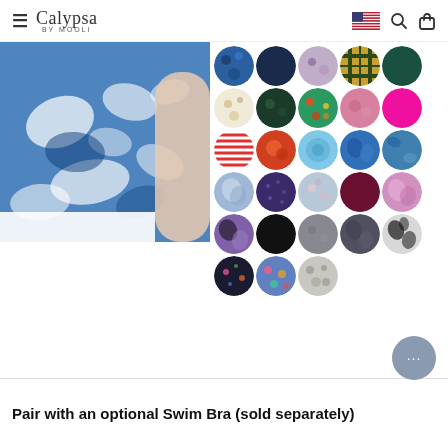Calypsa BY MOOLI
[Figure (photo): Woman wearing a blue and white abstract floral print swimsuit top]
[Figure (other): Color swatch selector grid showing approximately 28 circular fabric/color swatches in 6 rows of 5, including floral prints, solids (navy, black, hot pink, burgundy), and patterns (tie-dye, abstract) in various colors]
Pair with an optional Swim Bra (sold separately)